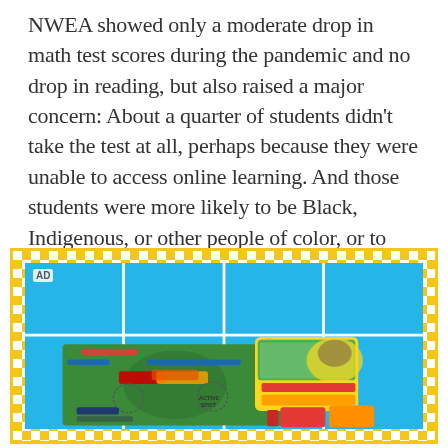NWEA showed only a moderate drop in math test scores during the pandemic and no drop in reading, but also raised a major concern: About a quarter of students didn't take the test at all, perhaps because they were unable to access online learning. And those students were more likely to be Black, Indigenous, or other people of color, or to attend high-poverty schools — groups that face educational inequity even in normal times.
[Figure (photo): Advertisement banner with yellow checkerboard border and blue background featuring Pokémon trading card game products including a game mat and card boxes with Eevee and other characters.]